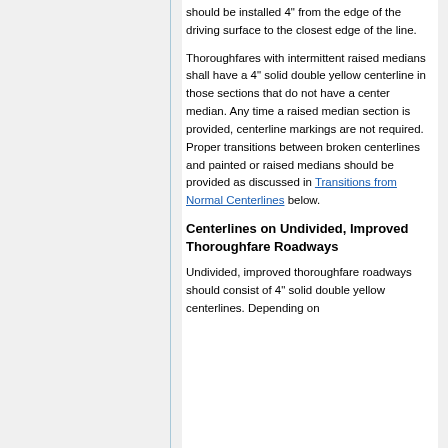should be installed 4" from the edge of the driving surface to the closest edge of the line.
Thoroughfares with intermittent raised medians shall have a 4" solid double yellow centerline in those sections that do not have a center median. Any time a raised median section is provided, centerline markings are not required. Proper transitions between broken centerlines and painted or raised medians should be provided as discussed in Transitions from Normal Centerlines below.
Centerlines on Undivided, Improved Thoroughfare Roadways
Undivided, improved thoroughfare roadways should consist of 4" solid double yellow centerlines. Depending on